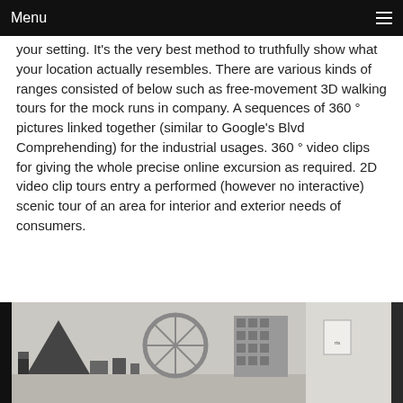Menu
your setting. It's the very best method to truthfully show what your location actually resembles. There are various kinds of ranges consisted of below such as free-movement 3D walking tours for the mock runs in company. A sequences of 360 ° pictures linked together (similar to Google's Blvd Comprehending) for the industrial usages. 360 ° video clips for giving the whole precise online excursion as required. 2D video clip tours entry a performed (however no interactive) scenic tour of an area for interior and exterior needs of consumers.
[Figure (photo): Black and white photo of architectural scale models including a large wheel/Ferris wheel structure, a triangular building, and tall rectangular buildings on a table.]